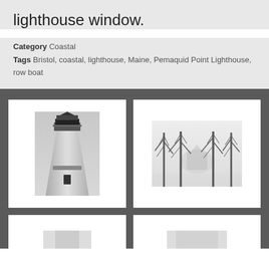lighthouse window.
Category Coastal
Tags Bristol, coastal, lighthouse, Maine, Pemaquid Point Lighthouse, row boat
[Figure (photo): Black and white close-up photo of a lighthouse tower from below, showing the lantern room at top]
[Figure (photo): Black and white photo of bare winter trees in fog with a lighthouse or building visible in the misty background]
[Figure (photo): Partial view of another gallery photo card at bottom left, cropped]
[Figure (photo): Partial view of another gallery photo card at bottom right, cropped]